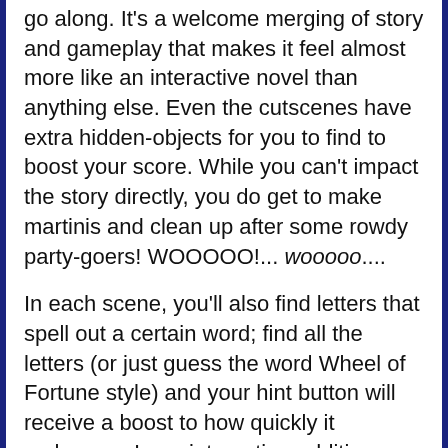go along. It's a welcome merging of story and gameplay that makes it feel almost more like an interactive novel than anything else. Even the cutscenes have extra hidden-objects for you to find to boost your score. While you can't impact the story directly, you do get to make martinis and clean up after some rowdy party-goers! WOOOOO!... wooooo....
In each scene, you'll also find letters that spell out a certain word; find all the letters (or just guess the word Wheel of Fortune style) and your hint button will receive a boost to how quickly it recharges. In an interesting addition, objects you find also give you points you can spend to decorate a virtual library which does... absolutely nothing. Maybe it's a complex metaphor for .... orrrrrrr maybe it's just a vestigial add-on in an attempt to bring in the collector crowd. (That would also explain the numerous trophies you unlock